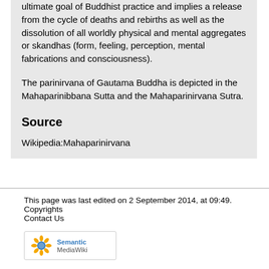ultimate goal of Buddhist practice and implies a release from the cycle of deaths and rebirths as well as the dissolution of all worldly physical and mental aggregates or skandhas (form, feeling, perception, mental fabrications and consciousness).
The parinirvana of Gautama Buddha is depicted in the Mahaparinibbana Sutta and the Mahaparinirvana Sutra.
Source
Wikipedia:Mahaparinirvana
This page was last edited on 2 September 2014, at 09:49.
Copyrights
Contact Us
[Figure (logo): Semantic MediaWiki logo — a sunflower icon next to the text 'Semantic MediaWiki']